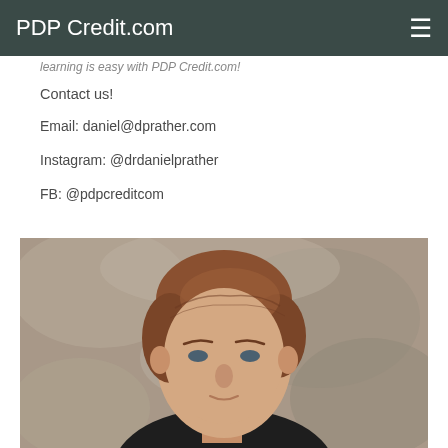PDP Credit.com
learning is easy with PDP Credit.com!
Contact us!
Email: daniel@dprather.com
Instagram: @drdanielprather
FB: @pdpcreditcom
[Figure (photo): Headshot photo of a man with brown/auburn hair against a mottled grey-brown studio background]